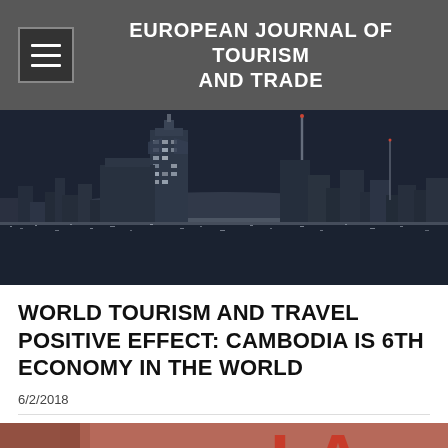EUROPEAN JOURNAL OF TOURISM AND TRADE
[Figure (photo): Black and white nighttime city skyline with illuminated skyscrapers and tower antenna]
WORLD TOURISM AND TRAVEL POSITIVE EFFECT: CAMBODIA IS 6TH ECONOMY IN THE WORLD
6/2/2018
[Figure (photo): Close-up of a reddish-orange surface with partial text visible showing 'LA' in large letters]